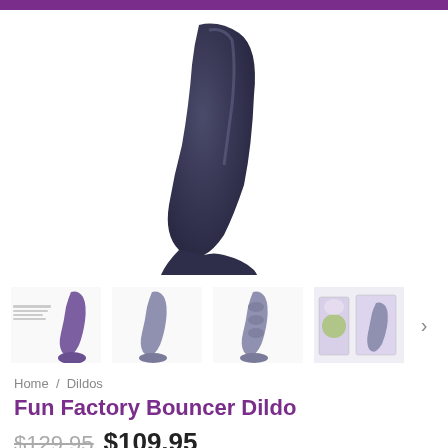[Figure (photo): Main product image of Fun Factory Bouncer Dildo - dark navy/purple silicone dildo with suction cup base, shown from side angle]
[Figure (photo): Thumbnail 1: Product shown with purple coloring and text overlay]
[Figure (photo): Thumbnail 2: Side view of product in grey/purple]
[Figure (photo): Thumbnail 3: Another side view of product in grey/purple]
[Figure (photo): Thumbnail 4: Product packaging - two boxes showing product]
Home / Dildos
Fun Factory Bouncer Dildo
$129.95 $109.95